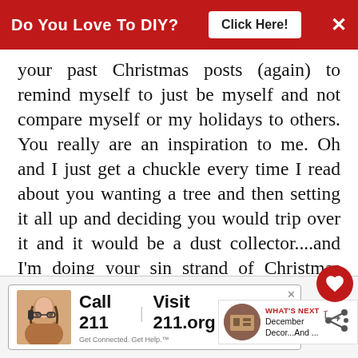Do You Love To DIY?  Click Here!  ×
your past Christmas posts (again) to remind myself to just be myself and not compare myself or my holidays to others. You really are an inspiration to me. Oh and I just get a chuckle every time I read about you wanting a tree and then setting it all up and deciding you would trip over it and it would be a dust collector....and I'm doing your single strand of Christmas lights over the windows like you....thanks for the inspiration.
WHAT'S NEXT → December Decor...And ...
[Figure (infographic): Advertisement banner: Call 211 | Visit 211.org with 2-1-1 badge logo, woman on phone image]